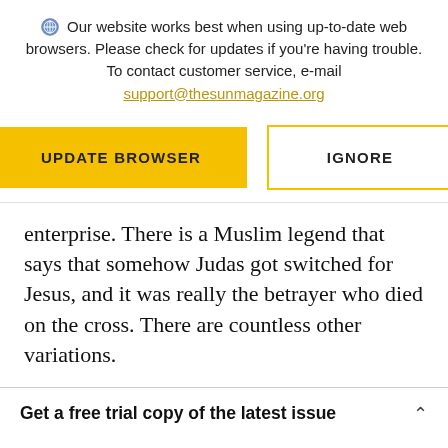Our website works best when using up-to-date web browsers. Please check for updates if you're having trouble. To contact customer service, e-mail support@thesunmagazine.org
[Figure (other): Two buttons: a filled yellow 'UPDATE BROWSER' button and an outlined yellow 'IGNORE' button]
enterprise. There is a Muslim legend that says that somehow Judas got switched for Jesus, and it was really the betrayer who died on the cross. There are countless other variations.
Get a free trial copy of the latest issue